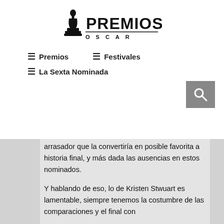[Figure (logo): Premios Oscar logo with Oscar statuette silhouette and text PREMIOS OSCAR]
≡ Premios   ≡ Festivales   ≡ La Sexta Nominada
arrasador que la convertiría en posible favorita a historia final, y más dada las ausencias en estos nominados.
Y hablando de eso, lo de Kristen Stwuart es lamentable, siempre tenemos la costumbre de las comparaciones y el final con